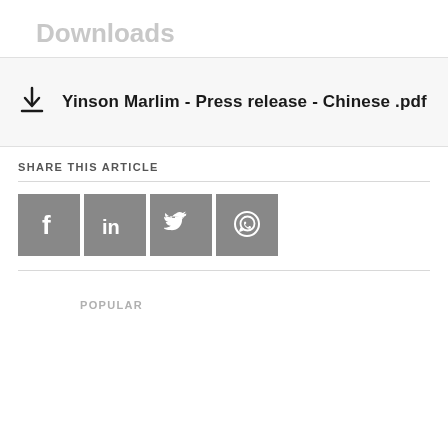Downloads
Yinson Marlim - Press release - Chinese .pdf
SHARE THIS ARTICLE
[Figure (infographic): Social media share icons: Facebook, LinkedIn, Twitter, WhatsApp]
POPULAR